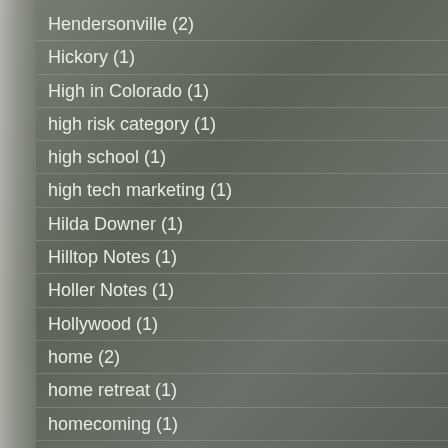Hendersonville (2)
Hickory (1)
High in Colorado (1)
high risk category (1)
high school (1)
high tech marketing (1)
Hilda Downer (1)
Hilltop Notes (1)
Holler Notes (1)
Hollywood (1)
home (2)
home retreat (1)
homecoming (1)
honorable mention 2013 ukiahaiku contest (1)
hooves (8)
Hope Clark (1)
hope clark (4)
Hope for tomorrow (1)
Hopi (1)